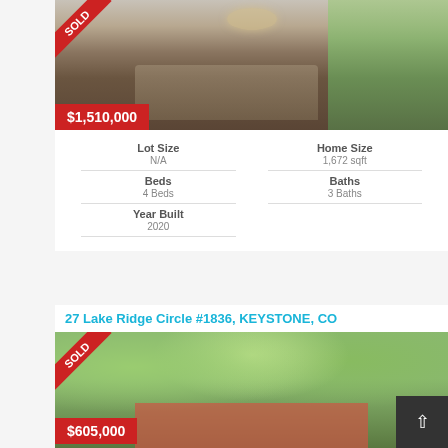[Figure (photo): Interior photo of a luxury dining room with chandelier, large windows showing trees, and hardwood floors. Red SOLD ribbon in top-left corner. Price badge showing $1,510,000 in bottom-left corner.]
| Lot Size | Home Size |
| --- | --- |
| N/A | 1,672 sqft |
| Beds | Baths |
| 4 Beds | 3 Baths |
| Year Built |  |
| 2020 |  |
27 Lake Ridge Circle #1836, KEYSTONE, CO
[Figure (photo): Exterior photo of a mountain property with tall aspen trees, red building visible through foliage. Red SOLD ribbon in top-left corner. Price badge showing $605,000 in bottom-left corner.]